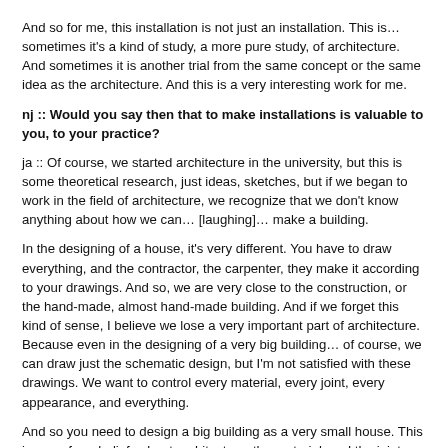And so for me, this installation is not just an installation. This is… sometimes it's a kind of study, a more pure study, of architecture. And sometimes it is another trial from the same concept or the same idea as the architecture. And this is a very interesting work for me.
nj :: Would you say then that to make installations is valuable to you, to your practice?
ja :: Of course, we started architecture in the university, but this is some theoretical research, just ideas, sketches, but if we began to work in the field of architecture, we recognize that we don't know anything about how we can… [laughing]… make a building.
In the designing of a house, it's very different. You have to draw everything, and the contractor, the carpenter, they make it according to your drawings. And so, we are very close to the construction, or the hand-made, almost hand-made building. And if we forget this kind of sense, I believe we lose a very important part of architecture. Because even in the designing of a very big building… of course, we can draw just the schematic design, but I'm not satisfied with these drawings. We want to control every material, every joint, every appearance, and everything.
And so you need to design a big building as a very small house. This is one of our beliefs about architecture: the material, and the joints, are very very important, as well as the whole composition of the building. And so this kind of installation is very useful… valuable for us, to remind us of the importance of the small things…